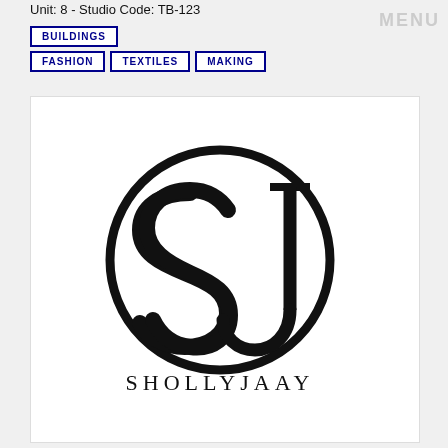Unit: 8 - Studio Code: TB-123
MENU
BUILDINGS
FASHION | TEXTILES | MAKING
[Figure (logo): ShollyJaay brand logo: stylized S and J letters inside a circle, with brand name SHOLLYJAAY below]